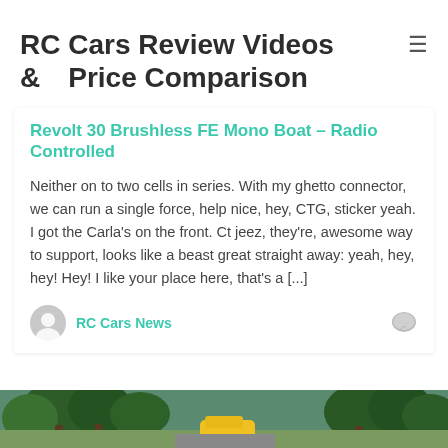RC Cars Review Videos & Price Comparison
Revolt 30 Brushless FE Mono Boat – Radio Controlled
Neither on to two cells in series. With my ghetto connector, we can run a single force, help nice, hey, CTG, sticker yeah. I got the Carla's on the front. Ct jeez, they're, awesome way to support, looks like a beast great straight away: yeah, hey, hey! Hey! I like your place here, that's a [...]
RC Cars News
[Figure (photo): Outdoor scene with trees and a yellow vehicle, partially visible at bottom of page]